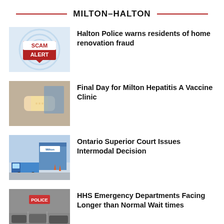MILTON–HALTON
Halton Police warns residents of home renovation fraud
Final Day for Milton Hepatitis A Vaccine Clinic
Ontario Superior Court Issues Intermodal Decision
HHS Emergency Departments Facing Longer than Normal Wait times
Multiple Charges Laid in Relation to Break and Enters and Vehicle Thefts in